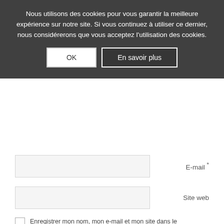Nous utilisons des cookies pour vous garantir la meilleure expérience sur notre site. Si vous continuez à utiliser ce dernier, nous considérerons que vous acceptez l'utilisation des cookies.
OK
En savoir plus
E-mail *
Site web
Enregistrer mon nom, mon e-mail et mon site dans le navigateur pour mon prochain commentaire.